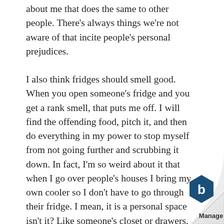about me that does the same to other people. There's always things we're not aware of that incite people's personal prejudices.
I also think fridges should smell good. When you open someone's fridge and you get a rank smell, that puts me off. I will find the offending food, pitch it, and then do everything in my power to stop myself from not going further and scrubbing it down. In fact, I'm so weird about it that when I go over people's houses I bring my own cooler so I don't have to go through their fridge. I mean, it is a personal space isn't it? Like someone's closet or drawers, should a fridge be off limits to visitors? Sometimes I think so and that maybe we better off with me not knowing how you arrange food. Whenever I visit my club I do the same. A as I'm in the clubhouse, I walk past the fridge and if it
[Figure (logo): Curled page corner with a hexagonal blue logo and the word 'Manage' beneath it]